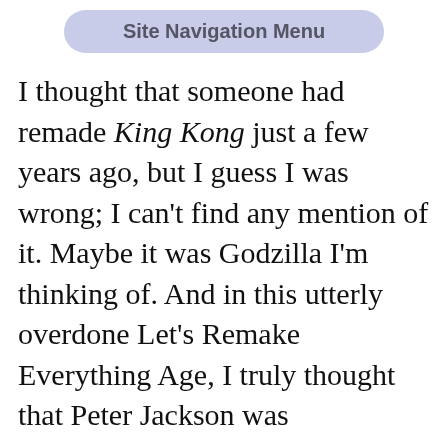Site Navigation Menu
I thought that someone had remade King Kong just a few years ago, but I guess I was wrong; I can't find any mention of it. Maybe it was Godzilla I'm thinking of. And in this utterly overdone Let's Remake Everything Age, I truly thought that Peter Jackson was